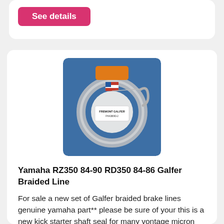See details
[Figure (photo): Product photo of a Galfer braided brake line kit in packaging, coiled stainless steel line with orange header card showing US flag and Galfer branding label, against blue fabric background.]
Yamaha RZ350 84-90 RD350 84-86 Galfer Braided Line
For sale a new set of Galfer braided brake lines genuine yamaha part** please be sure of your this is a new kick starter shaft seal for many vontage micron  make: use.
Kijiji  - Since 27-07